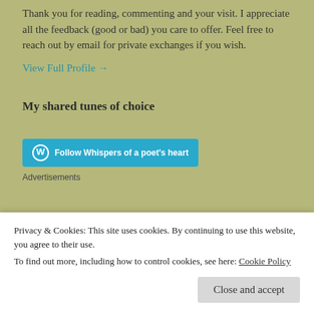Thank you for reading, commenting and your visit. I appreciate all the feedback (good or bad) you care to offer. Feel free to reach out by email for private exchanges if you wish.
View Full Profile →
My shared tunes of choice
[Figure (other): Follow Whispers of a poet's heart WordPress follow button]
Advertisements
Privacy & Cookies: This site uses cookies. By continuing to use this website, you agree to their use.
To find out more, including how to control cookies, see here: Cookie Policy
Close and accept